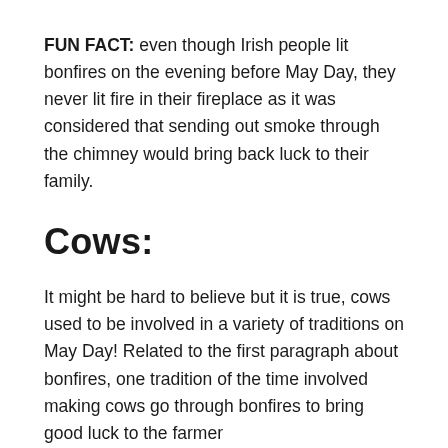FUN FACT: even though Irish people lit bonfires on the evening before May Day, they never lit fire in their fireplace as it was considered that sending out smoke through the chimney would bring back luck to their family.
Cows:
It might be hard to believe but it is true, cows used to be involved in a variety of traditions on May Day! Related to the first paragraph about bonfires, one tradition of the time involved making cows go through bonfires to bring good luck to the farmer and his cattle. There were many other...